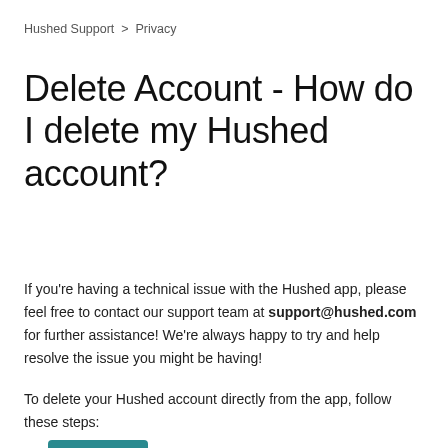Hushed Support  >  Privacy
Delete Account - How do I delete my Hushed account?
Follow
If you're having a technical issue with the Hushed app, please feel free to contact our support team at support@hushed.com for further assistance! We're always happy to try and help resolve the issue you might be having!
To delete your Hushed account directly from the app, follow these steps: